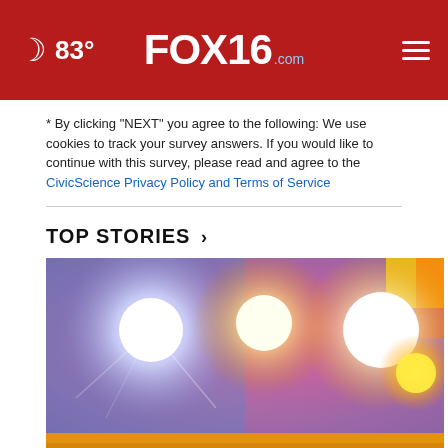🌙 83° | FOX16.com
* By clicking "NEXT" you agree to the following: We use cookies to track your survey answers. If you would like to continue with this survey, please read and agree to the CivicScience Privacy Policy and Terms of Service
TOP STORIES ›
[Figure (photo): Colorful abstract image of bright light bursts on a blue-purple-pink gradient background with an orange/gold ground strip at the bottom. Three large glowing orbs of white and yellow light dominate the upper portion.]